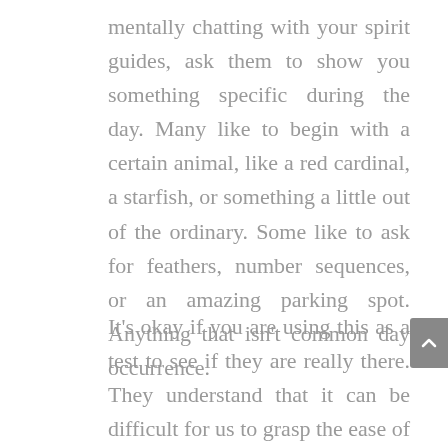mentally chatting with your spirit guides, ask them to show you something specific during the day. Many like to begin with a certain animal, like a red cardinal, a starfish, or something a little out of the ordinary. Some like to ask for feathers, number sequences, or an amazing parking spot. Anything that isn't common day occurrence.
It's okay if you are using this as a test to see if they are really there. They understand that it can be difficult for us to grasp the ease of communicating with them and they welcome your tests. They won't feel slighted for your disbelief and they will also understand when